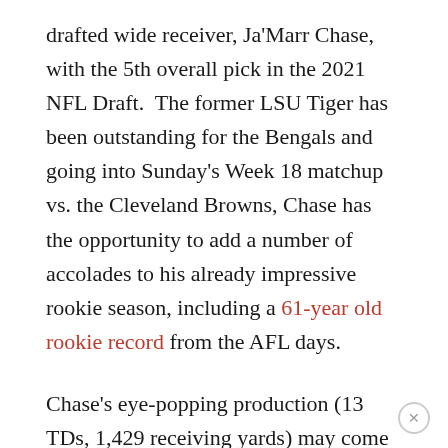drafted wide receiver, Ja'Marr Chase, with the 5th overall pick in the 2021 NFL Draft. The former LSU Tiger has been outstanding for the Bengals and going into Sunday's Week 18 matchup vs. the Cleveland Browns, Chase has the opportunity to add a number of accolades to his already impressive rookie season, including a 61-year old rookie record from the AFL days.

Chase's eye-popping production (13 TDs, 1,429 receiving yards) may come as a surprise to some, but he saw his early success coming